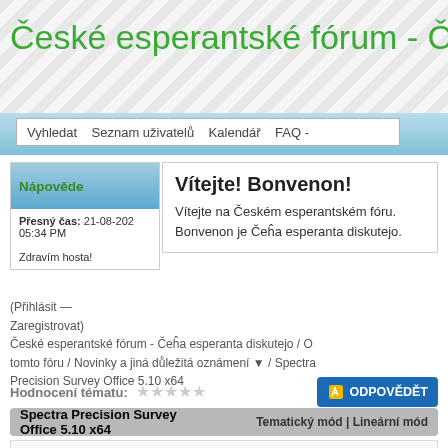České esperantské fórum - Čeĥ
Vyhledat  Seznam uživatelů  Kalendář  FAQ -
Nápověde
Vítejte! Bonvenon!
Vítejte na Českém esperantském fóru. Bonvenon je Čeĥa esperanta diskutejo.
Přesný čas: 21-08-2021 05:34 PM
Zdravím hosta!
(Přihlásit —
Zaregistrovat)
České esperantské fórum - Čeĥa esperanta diskutejo / O tomto fóru / Novinky a jiná důležitá oznámení ▼ / Spectra Precision Survey Office 5.10 x64
Hodnocení tématu: ☆☆☆☆☆
ODPOVĚDĚT
Spectra Precision Survey Office 5.10 x64
Tematický mód | Lineární mód
11-04-2021, 09:59 AM
Příspěv